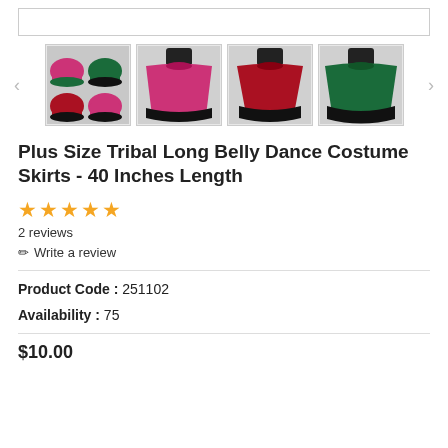[Figure (photo): Top bar placeholder image area]
[Figure (photo): Thumbnail gallery of belly dance costumes skirts in magenta/green, magenta/black, dark red/black, green/black colors]
Plus Size Tribal Long Belly Dance Costume Skirts - 40 Inches Length
[Figure (other): 5 gold star rating]
2 reviews
✏ Write a review
Product Code : 251102
Availability : 75